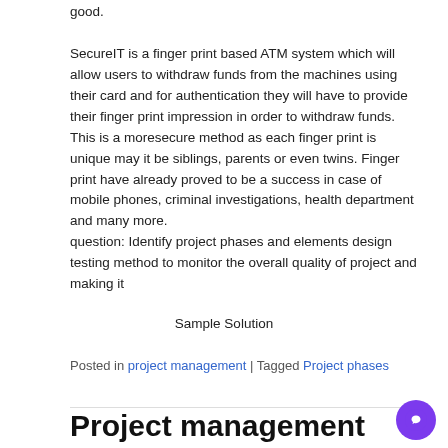good.
SecureIT is a finger print based ATM system which will allow users to withdraw funds from the machines using their card and for authentication they will have to provide their finger print impression in order to withdraw funds. This is a moresecure method as each finger print is unique may it be siblings, parents or even twins. Finger print have already proved to be a success in case of mobile phones, criminal investigations, health department and many more.
question: Identify project phases and elements design testing method to monitor the overall quality of project and making it
Sample Solution
Posted in project management | Tagged Project phases
Project management
Posted on August 16, 2022 | by Dan
Project management is essential for the operations in various industries